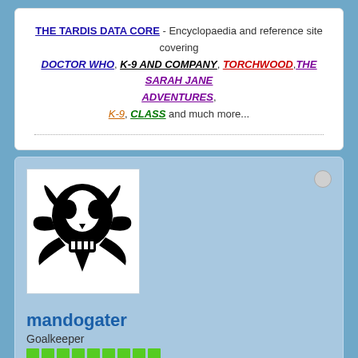THE TARDIS DATA CORE - Encyclopaedia and reference site covering DOCTOR WHO, K-9 AND COMPANY, TORCHWOOD, THE SARAH JANE ADVENTURES, K-9, CLASS and much more...
[Figure (illustration): Mandalorian skull logo in black on white background]
mandogater
Goalkeeper
Member Since: Jul 2010   Posts: 16261
17 August 2015, 03:09 PM
#9788
Sportscenter